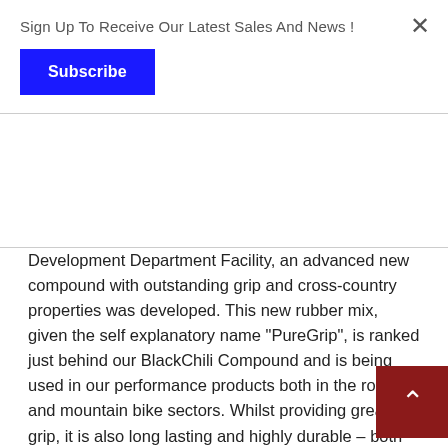Sign Up To Receive Our Latest Sales And News !
Subscribe
Development Department Facility, an advanced new compound with outstanding grip and cross-country properties was developed. This new rubber mix, given the self explanatory name "PureGrip", is ranked just behind our BlackChili Compound and is being used in our performance products both in the road and mountain bike sectors. Whilst providing great grip, it is also long lasting and highly durable – both characteristics of Continental tires, which are exclusively manufactured in the factory in Hefei (Asia).
Suitable for E-Bikes
For our E-Bike tyre we fall back on over 100 years' experience with moped and motorcycle tires. All of our city/trekking tires are rated to a standard speed of at least